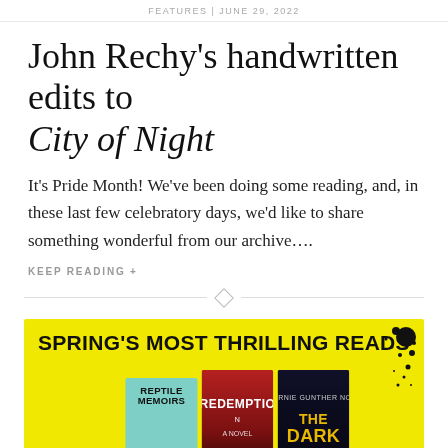FEATURES | JUNE 29, 2022
John Rechy's handwritten edits to City of Night
It's Pride Month! We've been doing some reading, and, in these last few celebratory days, we'd like to share something wonderful from our archive….
KEEP READING +
[Figure (illustration): Yellow advertisement banner for 'Spring's Most Thrilling Reads' showing three book covers: Reptile Memoirs by Silje Ulstein, Redemption (a novel), and The Dark Flood (a Bernie Gunther novel), with black ink splatter decoration on a yellow background.]